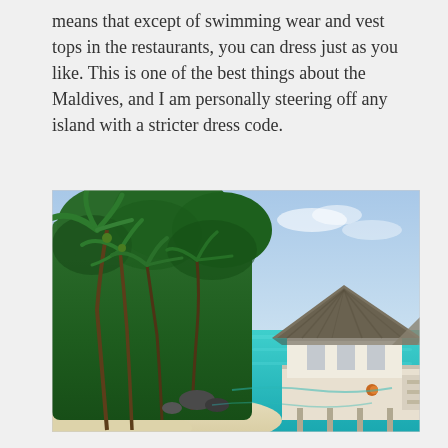means that except of swimming wear and vest tops in the restaurants, you can dress just as you like. This is one of the best things about the Maldives, and I am personally steering off any island with a stricter dress code.
[Figure (photo): A tropical beach scene in the Maldives. On the left, lush green palm trees and vegetation line the white sandy shore. On the right, an overwater bungalow or restaurant with a thatched roof sits on a pier extending over the clear turquoise water. The sky is light blue with faint clouds.]